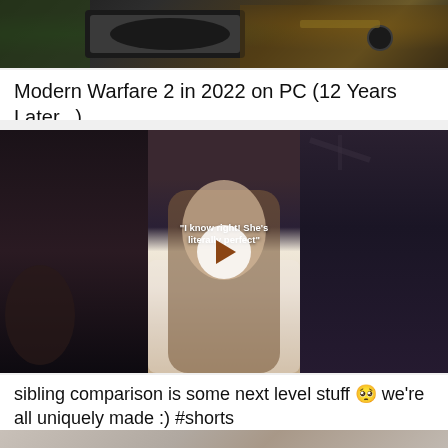[Figure (screenshot): Video thumbnail for Modern Warfare 2 gameplay footage — dark close-up of a weapon/rifle with outdoor background, green trees visible on left, yellow/orange tones on right]
Modern Warfare 2 in 2022 on PC (12 Years Later...)
[Figure (screenshot): Video thumbnail showing a young woman in a white top with long straight hair, hands on chest, eyes closed, with text overlay reading 'I know right! She's literally perfect'. A circular play button is overlaid in the center.]
sibling comparison is some next level stuff 🥺 we're all uniquely made :) #shorts
[Figure (photo): Partially visible thumbnail at bottom of page, showing a textured gray/stone surface]